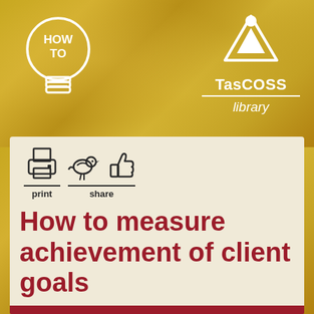[Figure (logo): TasCOSS library logo with triangle/person icon and 'HOW TO' lightbulb graphic on gold background]
[Figure (infographic): Print and share icons (printer icon, bird/twitter icon, thumbs-up/like icon) with labels 'print' and 'share']
How to measure achievement of client goals